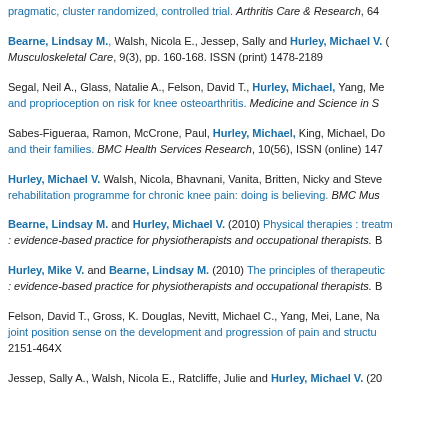pragmatic, cluster randomized, controlled trial. Arthritis Care & Research, 64
Bearne, Lindsay M., Walsh, Nicola E., Jessep, Sally and Hurley, Michael V. Musculoskeletal Care, 9(3), pp. 160-168. ISSN (print) 1478-2189
Segal, Neil A., Glass, Natalie A., Felson, David T., Hurley, Michael, Yang, Me and proprioception on risk for knee osteoarthritis. Medicine and Science in S
Sabes-Figueraa, Ramon, McCrone, Paul, Hurley, Michael, King, Michael, Do and their families. BMC Health Services Research, 10(56), ISSN (online) 147
Hurley, Michael V. Walsh, Nicola, Bhavnani, Vanita, Britten, Nicky and Steve rehabilitation programme for chronic knee pain: doing is believing. BMC Mus
Bearne, Lindsay M. and Hurley, Michael V. (2010) Physical therapies : treatm : evidence-based practice for physiotherapists and occupational therapists. B
Hurley, Mike V. and Bearne, Lindsay M. (2010) The principles of therapeutic : evidence-based practice for physiotherapists and occupational therapists. B
Felson, David T., Gross, K. Douglas, Nevitt, Michael C., Yang, Mei, Lane, Na joint position sense on the development and progression of pain and structu 2151-464X
Jessep, Sally A., Walsh, Nicola E., Ratcliffe, Julie and Hurley, Michael V. (20